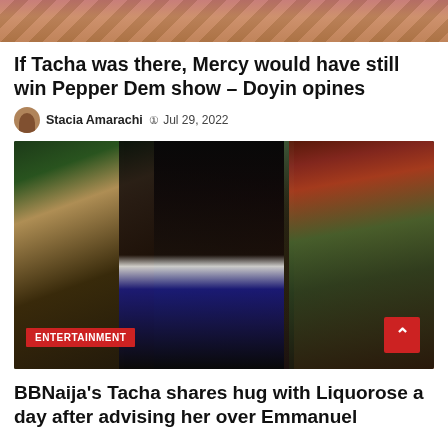[Figure (photo): Cropped top portion of a photo showing people, partially visible]
If Tacha was there, Mercy would have still win Pepper Dem show – Doyin opines
Stacia Amarachi ⊙ Jul 29, 2022
[Figure (photo): Three young women posing together: left woman in green outfit with mesh detail, center woman in white off-shoulder top, right woman with red hair in green jacket and black bralette. ENTERTAINMENT badge at bottom left.]
BBNaija's Tacha shares hug with Liquorose a day after advising her over Emmanuel